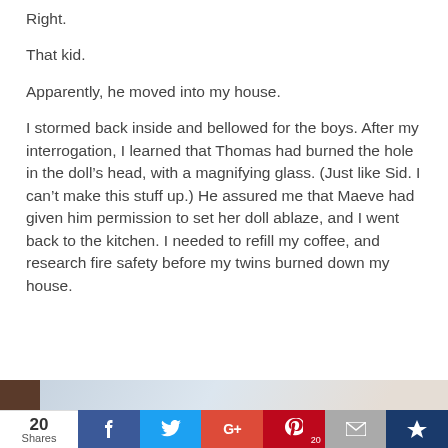Right.
That kid.
Apparently, he moved into my house.
I stormed back inside and bellowed for the boys. After my interrogation, I learned that Thomas had burned the hole in the doll’s head, with a magnifying glass. (Just like Sid. I can’t make this stuff up.) He assured me that Maeve had given him permission to set her doll ablaze, and I went back to the kitchen. I needed to refill my coffee, and research fire safety before my twins burned down my house.
[Figure (photo): Partial photo visible at bottom of page showing a person, cropped]
20 Shares | Facebook | Twitter | Google+ | Pinterest 20 | Email | Crown/bookmark